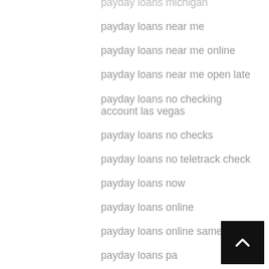payday loans michigan
payday loans near me
payday loans near me online
payday loans near me open late
payday loans no checking account las vegas
payday loans no checks
payday loans no teletrack check
payday loans now
payday loans online
payday loans online same day
payday loans pa
payday loans port arthur tx
payday loans south dakota